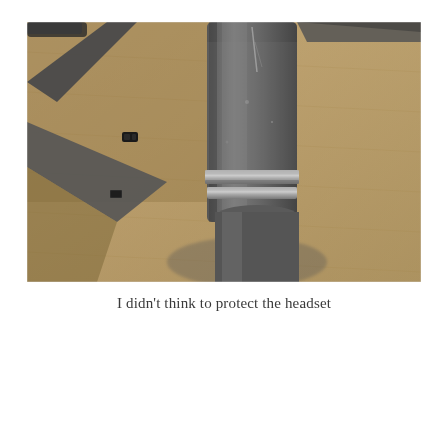[Figure (photo): Close-up photograph of a bicycle frame headset junction, resting on a carpet/fabric surface. The headset shows gray painted bicycle tubes meeting at the head tube, with a metallic headset ring visible. Two frame tubes extend to the left (top tube and down tube). The surface beneath is a beige/tan textured carpet.]
I didn't think to protect the headset